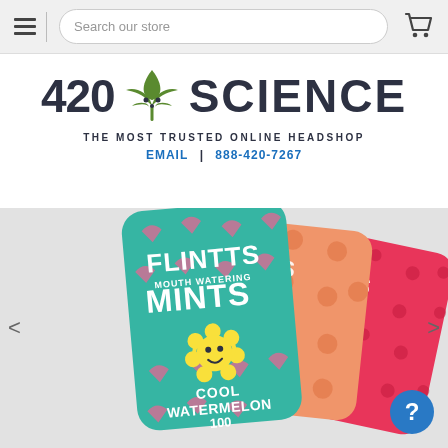[Figure (screenshot): Navigation bar with hamburger menu, search bar labeled 'Search our store', and shopping cart icon]
[Figure (logo): 420 Science logo with cannabis leaf icon and text '420 SCIENCE - THE MOST TRUSTED ONLINE HEADSHOP']
EMAIL | 888-420-7267
[Figure (photo): Product photo showing three Flintts Mouth Watering Mints tins fanned out: Cool Watermelon (teal, front), orange flavor (peach/orange, middle), cherry flavor (pink/red, back), each decorated with fruit patterns and a character mascot. Text visible: FLINTTS MOUTH WATERING MINTS, COOL WATERMELON, 100]